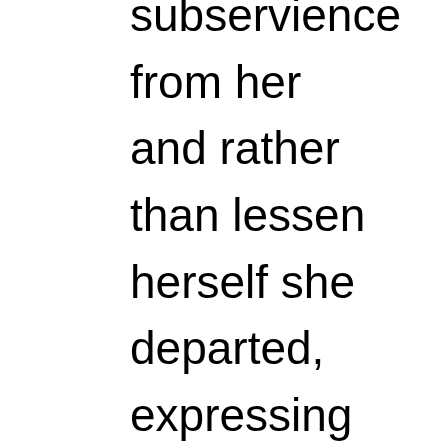subservience from her and rather than lessen herself she departed, expressing the pain of her rejection as fury. Her